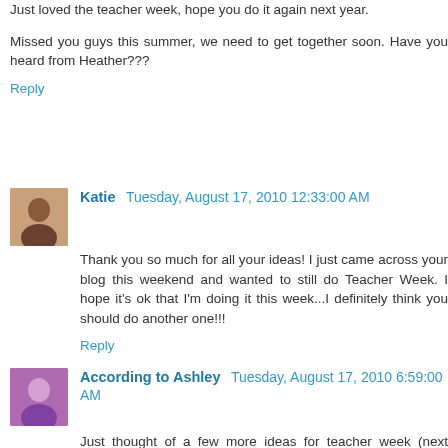Just loved the teacher week, hope you do it again next year.
Missed you guys this summer, we need to get together soon. Have you heard from Heather???
Reply
Katie  Tuesday, August 17, 2010 12:33:00 AM
Thank you so much for all your ideas! I just came across your blog this weekend and wanted to still do Teacher Week. I hope it's ok that I'm doing it this week...I definitely think you should do another one!!!
Reply
According to Ashley  Tuesday, August 17, 2010 6:59:00 AM
Just thought of a few more ideas for teacher week (next year): Favorite books for teachers (professional development books, etc) and favorite children's books (and